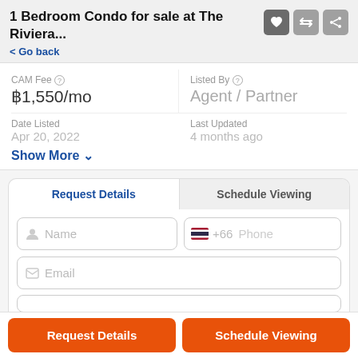1 Bedroom Condo for sale at The Riviera...
< Go back
CAM Fee
฿1,550/mo
Listed By
Agent / Partner
Date Listed
Apr 20, 2022
Last Updated
4 months ago
Show More
Request Details
Schedule Viewing
Name
+66  Phone
Email
Request Details
Schedule Viewing